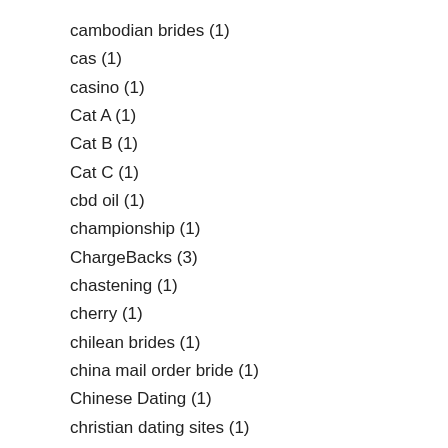cambodian brides (1)
cas (1)
casino (1)
Cat A (1)
Cat B (1)
Cat C (1)
cbd oil (1)
championship (1)
ChargeBacks (3)
chastening (1)
cherry (1)
chilean brides (1)
china mail order bride (1)
Chinese Dating (1)
christian dating sites (1)